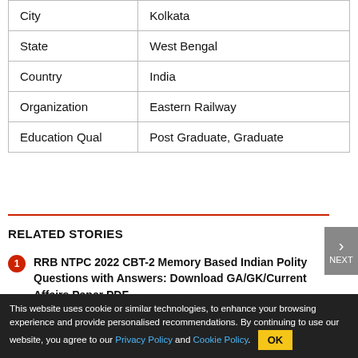| City | Kolkata |
| State | West Bengal |
| Country | India |
| Organization | Eastern Railway |
| Education Qual | Post Graduate, Graduate |
RELATED STORIES
RRB NTPC 2022 CBT-2 Memory Based Indian Polity Questions with Answers: Download GA/GK/Current Affairs Paper PDF
RRB NTPC 2022 CBT-2 Memory Based Geography Questions with Answers: Download GA/GK/Current Affairs Exam Paper PDF
RRB NTPC 2022 CBT-2 Memory Based History
This website uses cookie or similar technologies, to enhance your browsing experience and provide personalised recommendations. By continuing to use our website, you agree to our Privacy Policy and Cookie Policy.